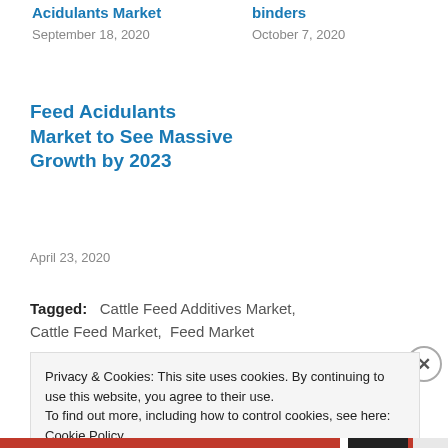Acidulants Market
September 18, 2020
binders
October 7, 2020
Feed Acidulants Market to See Massive Growth by 2023
April 23, 2020
Tagged:   Cattle Feed Additives Market,  Cattle Feed Market,  Feed Market
Privacy & Cookies: This site uses cookies. By continuing to use this website, you agree to their use.
To find out more, including how to control cookies, see here: Cookie Policy
Close and accept